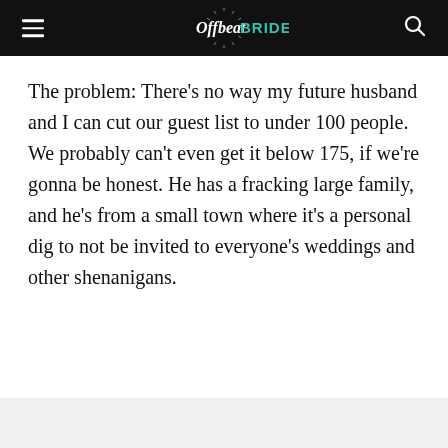Offbeat BRIDE
The problem: There's no way my future husband and I can cut our guest list to under 100 people. We probably can't even get it below 175, if we're gonna be honest. He has a fracking large family, and he's from a small town where it's a personal dig to not be invited to everyone's weddings and other shenanigans.